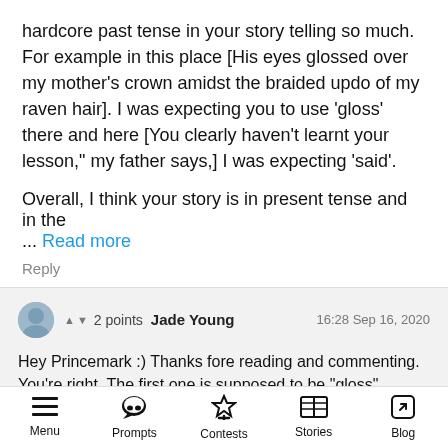hardcore past tense in your story telling so much. For example in this place [His eyes glossed over my mother's crown amidst the braided updo of my raven hair]. I was expecting you to use 'gloss' there and here [You clearly haven't learnt your lesson," my father says,] I was expecting 'said'.
Overall, I think your story is in present tense and in the ... Read more
Reply
▲ ▼ 2 points  Jade Young  16:28 Sep 16, 2020
Hey Princemark :) Thanks fore reading and commenting.
You're right. The first one is supposed to be "gloss",
Menu  Prompts  Contests  Stories  Blog